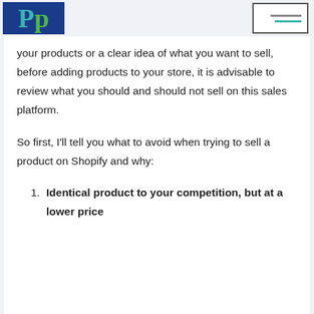PP [logo with menu icon]
your products or a clear idea of what you want to sell, before adding products to your store, it is advisable to review what you should and should not sell on this sales platform.
So first, I'll tell you what to avoid when trying to sell a product on Shopify and why:
Identical product to your competition, but at a lower price